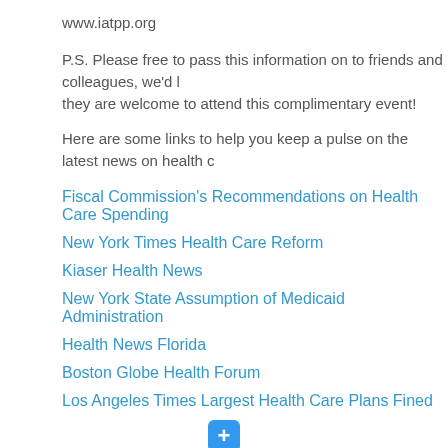www.iatpp.org
P.S. Please free to pass this information on to friends and colleagues, we'd love to have them, they are welcome to attend this complimentary event!
Here are some links to help you keep a pulse on the latest news on health c...
Fiscal Commission's Recommendations on Health Care Spending
New York Times Health Care Reform
Kiaser Health News
New York State Assumption of Medicaid Administration
Health News Florida
Boston Globe Health Forum
Los Angeles Times Largest Health Care Plans Fined
[Figure (other): Blue plus button icon]
Tags: counseling, make more money, managed care, marketing for therapists, p...
Posted in Business Success, Health Care Insurance Reform, Help many more p... Marketing, Marketing Strategies | Comments Off